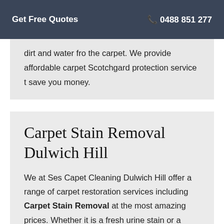Get Free Quotes   ✆ 0488 851 277
dirt and water fro the carpet. We provide affordable carpet Scotchgard protection service t save you money.
Carpet Stain Removal Dulwich Hill
We at Ses Capet Cleaning Dulwich Hill offer a range of carpet restoration services including Carpet Stain Removal at the most amazing prices. Whether it is a fresh urine stain or a dried old coffee stain, our carpet cleaning Dulwich Hill professionals know the best